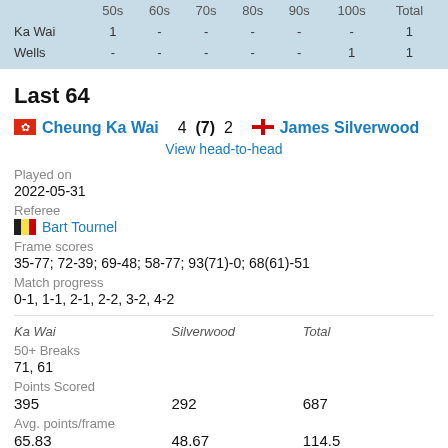|  | 50s | 60s | 70s | 80s | 90s | 100s | Total |
| --- | --- | --- | --- | --- | --- | --- | --- |
| Ka Wai | 1 | - | - | - | - | - | 1 |
| Wells | - | - | - | - | - | 1 | 1 |
Last 64
Cheung Ka Wai 4 (7) 2 James Silverwood
View head-to-head
Played on
2022-05-31
Referee
Bart Tournel
Frame scores
35-77; 72-39; 69-48; 58-77; 93(71)-0; 68(61)-51
Match progress
0-1, 1-1, 2-1, 2-2, 3-2, 4-2
| Ka Wai | Silverwood | Total |
| --- | --- | --- |
| 50+ Breaks |  |  |
| 71, 61 |  |  |
| Points Scored |  |  |
| 395 | 292 | 687 |
| Avg. points/frame |  |  |
| 65.83 | 48.67 | 114.5 |